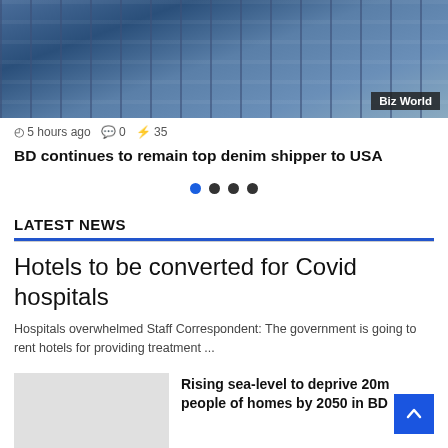[Figure (photo): Close-up photo of blue denim jeans fabric hanging, with 'Biz World' badge overlay in bottom right corner]
5 hours ago  0  35
BD continues to remain top denim shipper to USA
[Figure (infographic): Carousel navigation dots: one blue (active) and three dark/black (inactive)]
LATEST NEWS
Hotels to be converted for Covid hospitals
Hospitals overwhelmed Staff Correspondent: The government is going to rent hotels for providing treatment ...
Rising sea-level to deprive 20m people of homes by 2050 in BD